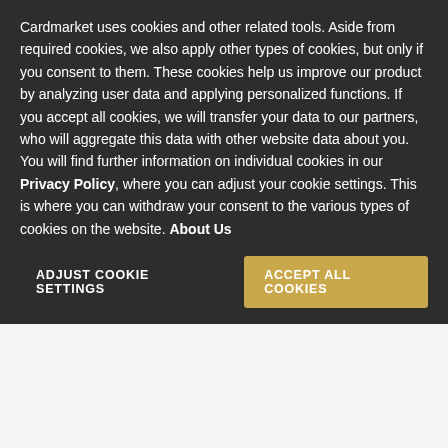Cardmarket uses cookies and other related tools. Aside from required cookies, we also apply other types of cookies, but only if you consent to them. These cookies help us improve our product by analyzing user data and applying personalized functions. If you accept all cookies, we will transfer your data to our partners, who will aggregate this data with other website data about you. You will find further information on individual cookies in our Privacy Policy, where you can adjust your cookie settings. This is where you can withdraw your consent to the various types of cookies on the website. About Us
ADJUST COOKIE SETTINGS
ACCEPT ALL COOKIES
[Figure (logo): Cardmarket logo - stylized playing card with checkmark]
SIGN UP
Search Cardmarket...
... / Scourgewar / Netherbreath Spellblade
Netherbreath Spellblade
Scourgewar Single